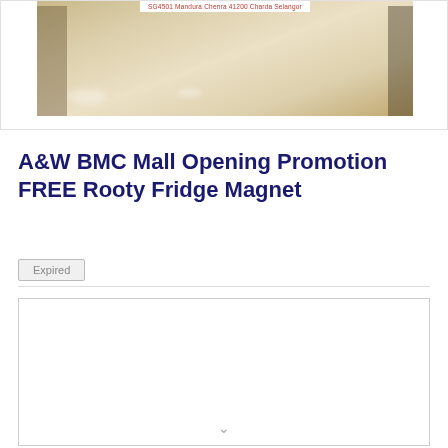[Figure (photo): Interior photo of a mall floor with beige/cream tiles reflecting overhead lights, with a small banner at the top in red text]
A&W BMC Mall Opening Promotion FREE Rooty Fridge Magnet
Expired
[Figure (other): Empty white card area with a chevron/down-arrow at the bottom]